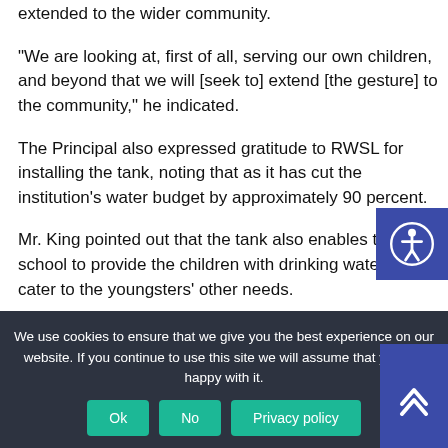extended to the wider community.
“We are looking at, first of all, serving our own children, and beyond that we will [seek to] extend [the gesture] to the community,” he indicated.
The Principal also expressed gratitude to RWSL for installing the tank, noting that as it has cut the institution’s water budget by approximately 90 percent.
Mr. King pointed out that the tank also enables the school to provide the children with drinking water and cater to the youngsters’ other needs.
[Figure (other): Accessibility icon button (blue square with person/accessibility symbol)]
We use cookies to ensure that we give you the best experience on our website. If you continue to use this site we will assume that you are happy with it.
Ok  No  Privacy policy